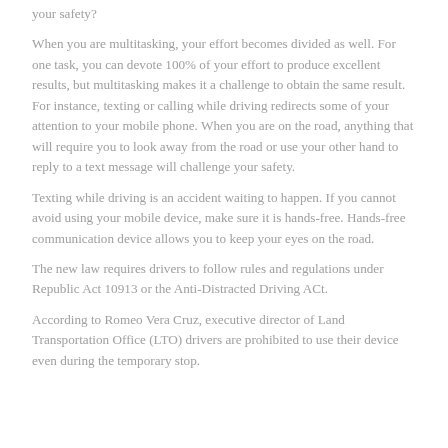your safety?
When you are multitasking, your effort becomes divided as well. For one task, you can devote 100% of your effort to produce excellent results, but multitasking makes it a challenge to obtain the same result. For instance, texting or calling while driving redirects some of your attention to your mobile phone. When you are on the road, anything that will require you to look away from the road or use your other hand to reply to a text message will challenge your safety.
Texting while driving is an accident waiting to happen. If you cannot avoid using your mobile device, make sure it is hands-free. Hands-free communication device allows you to keep your eyes on the road.
The new law requires drivers to follow rules and regulations under Republic Act 10913 or the Anti-Distracted Driving ACt.
According to Romeo Vera Cruz, executive director of Land Transportation Office (LTO) drivers are prohibited to use their device even during the temporary stop.